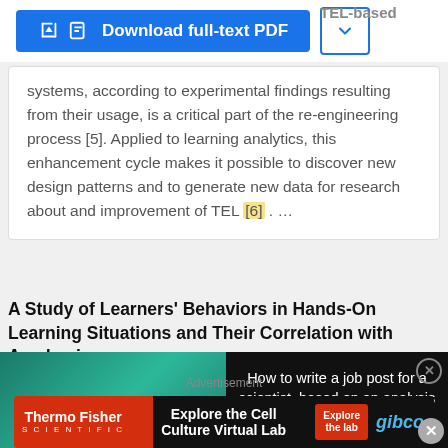[Figure (screenshot): Download full-text PDF button bar with blue button and chevron dropdown]
systems, according to experimental findings resulting from their usage, is a critical part of the re-engineering process [5]. Applied to learning analytics, this enhancement cycle makes it possible to discover new design patterns and to generate new data for research about and improvement of TEL [6]. ...
A Study of Learners' Behaviors in Hands-On Learning Situations and Their Correlation with Academic…
[Figure (screenshot): Video thumbnail overlay: How to write a job post for a scientist, based on an analysis of how scientists have engaged with 2-million job posts. With close button X.]
Advertisement
[Figure (screenshot): ThermoFisher Scientific advertisement banner: Explore the Cell Culture Virtual Lab, gibco]